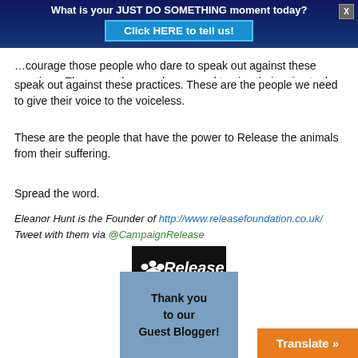What is your JUST DO SOMETHING moment today? Click HERE to tell us!
...courage those people who dare to speak out against these practices. These are the people we need to give their voice to the voiceless.
These are the people that have the power to Release the animals from their suffering.
Spread the word.
Eleanor Hunt is the Founder of http://www.releasefoundation.co.uk/ Tweet with them via @CampaignRelease
[Figure (logo): Release Foundation logo — white paw print with padlock and 'Release' text on black background]
[Figure (infographic): Blue box with text 'Thank you to our Guest Blogger!']
Translate »